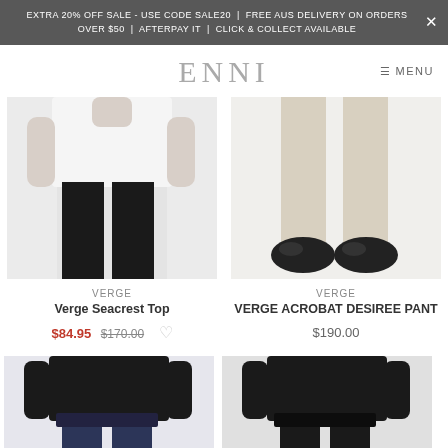EXTRA 20% OFF SALE - USE CODE SALE20 | FREE AUS DELIVERY ON ORDERS OVER $50 | AFTERPAY IT | CLICK & COLLECT AVAILABLE
ENNI  ≡ MENU
[Figure (photo): Product photo of Verge Seacrest Top - woman wearing white top with black pants, cropped at waist]
[Figure (photo): Product photo of Verge Acrobat Desiree Pant - close-up of legs wearing grey pants with black loafers]
VERGE
Verge Seacrest Top
$84.95  $170.00
VERGE
VERGE ACROBAT DESIREE PANT
$190.00
[Figure (photo): Product photo of woman wearing navy blue slim pants with black top]
[Figure (photo): Product photo of woman wearing black slim pants with black top]